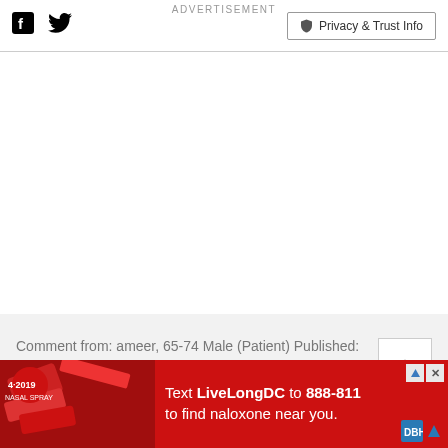Facebook | Twitter | Privacy & Trust Info
Comment from: ameer, 65-74 Male (Patient) Published: October 27
ADVERTISEMENT
[Figure (photo): Red advertisement banner: Text LiveLongDC to 888-811 to find naloxone near you. DBH logo visible. Ad choice and close buttons in corner.]